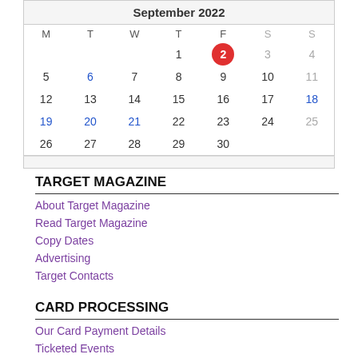| M | T | W | T | F | S | S |
| --- | --- | --- | --- | --- | --- | --- |
|  |  |  | 1 | 2 | 3 | 4 |
| 5 | 6 | 7 | 8 | 9 | 10 | 11 |
| 12 | 13 | 14 | 15 | 16 | 17 | 18 |
| 19 | 20 | 21 | 22 | 23 | 24 | 25 |
| 26 | 27 | 28 | 29 | 30 |  |  |
TARGET MAGAZINE
About Target Magazine
Read Target Magazine
Copy Dates
Advertising
Target Contacts
CARD PROCESSING
Our Card Payment Details
Ticketed Events